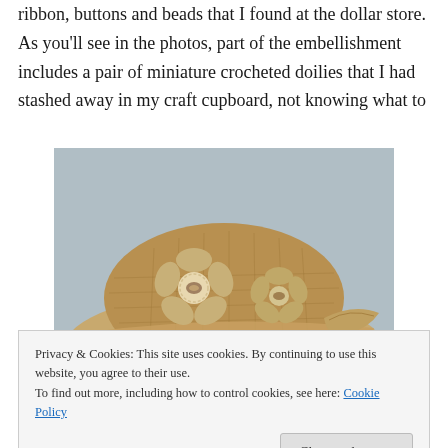ribbon, buttons and beads that I found at the dollar store. As you'll see in the photos, part of the embellishment includes a pair of miniature crocheted doilies that I had stashed away in my craft cupboard, not knowing what to
[Figure (photo): A burlap crocheted hat decorated with burlap flower embellishments and what appear to be miniature crocheted doilies with buttons/beads as centers.]
Privacy & Cookies: This site uses cookies. By continuing to use this website, you agree to their use.
To find out more, including how to control cookies, see here: Cookie Policy
embellishments—you could also use some velvet ribbon